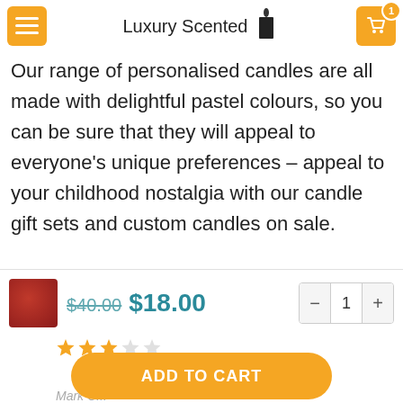Pastel colors
Luxury Scented
Our range of personalised candles are all made with delightful pastel colours, so you can be sure that they will appeal to everyone’s unique preferences – appeal to your childhood nostalgia with our candle gift sets and custom candles on sale.
REVIEWS (1)
$40.00  $18.00
ADD TO CART